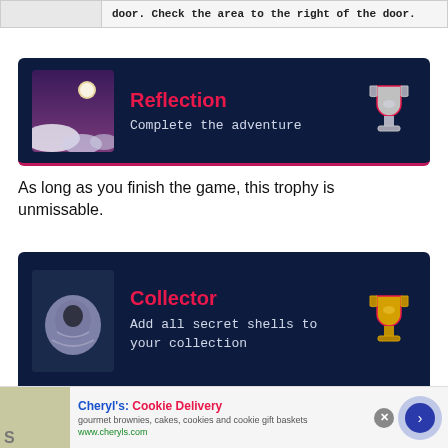[Figure (screenshot): Top partial row with gray background and text cut off: 'door. Check the area to the right of the door.']
[Figure (screenshot): Trophy card with dark navy background. Title: Reflection. Description: Complete the adventure. Shows moon/night sky thumbnail and silver trophy icon.]
As long as you finish the game, this trophy is unmissable.
[Figure (screenshot): Trophy card with dark navy background. Title: Collector. Description: Add all secret shells to your collection. Shows shell thumbnail and gold trophy icon.]
There are 19 Shells to find throughout your journey.
[Figure (screenshot): Advertisement bar at bottom: Cheryl's: Cookie Delivery. gourmet brownies, cakes, cookies and cookie gift baskets. www.cheryls.com]